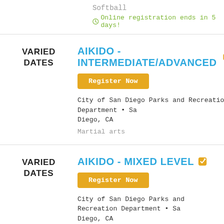Softball
Online registration ends in 5 days!
VARIED DATES
AIKIDO - INTERMEDIATE/ADVANCED
Register Now
City of San Diego Parks and Recreation Department • Sa Diego, CA
Martial arts
VARIED DATES
AIKIDO - MIXED LEVEL
Register Now
City of San Diego Parks and Recreation Department • Sa Diego, CA
Martial arts